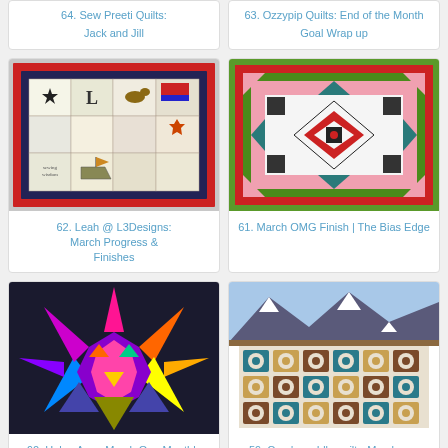64. Sew Preeti Quilts: Jack and Jill
63. Ozzypip Quilts: End of the Month Goal Wrap up
[Figure (photo): Quilt with patchwork squares featuring various designs including a star, letters, animals, and a maple leaf on red and blue borders]
62. Leah @ L3Designs: March Progress & Finishes
[Figure (photo): Green and red bordered quilt with symmetrical geometric diamond and cross pattern in white, red, black and pink on green background]
61. March OMG Finish | The Bias Edge
[Figure (photo): Colorful star quilt with vibrant pink, orange, yellow, purple and blue triangular pieces forming a large eight-pointed star on dark background]
60. Helen Anne March One Monthly Goal
[Figure (photo): Geometric patchwork quilt hanging outdoors with mountains in background, featuring teal, brown, and white square and circular patterns]
59. Cora's cuddle quilt - March one monthly goal